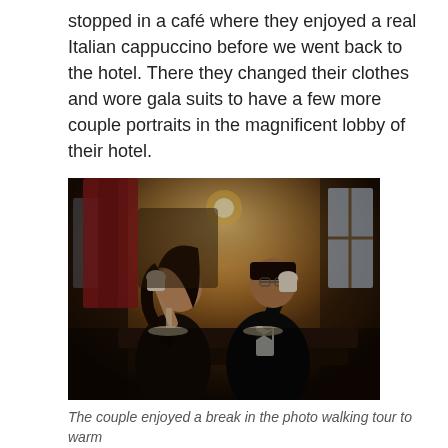stopped in a café where they enjoyed a real Italian cappuccino before we went back to the hotel. There they changed their clothes and wore gala suits to have a few more couple portraits in the magnificent lobby of their hotel.
[Figure (photo): A couple in formal attire sitting at a dark wooden table in a warmly lit café, both holding white coffee cups up to their mouths. The woman wears a white dress and the man wears a black tuxedo. The café interior has red curtains and large windows in the background.]
The couple enjoyed a break in the photo walking tour to warm